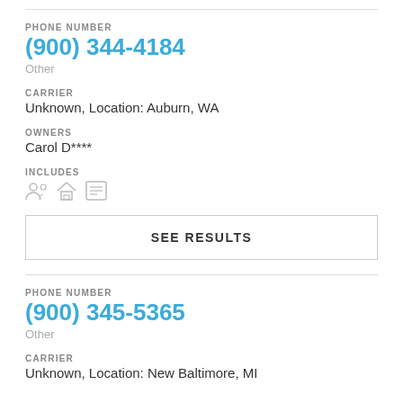PHONE NUMBER
(900) 344-4184
Other
CARRIER
Unknown, Location: Auburn, WA
OWNERS
Carol D****
INCLUDES
[Figure (illustration): Three small icons representing people, home, and document]
SEE RESULTS
PHONE NUMBER
(900) 345-5365
Other
CARRIER
Unknown, Location: New Baltimore, MI